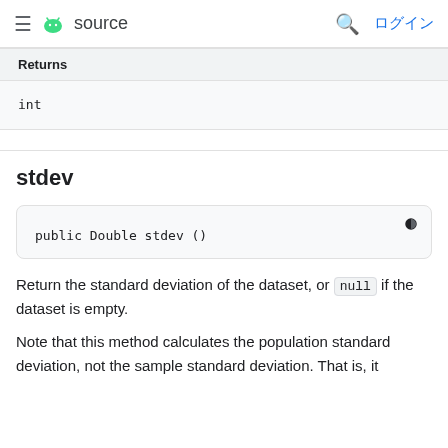≡ 🤖 source   🔍 ログイン
| Returns |
| --- |
| int |
stdev
public Double stdev ()
Return the standard deviation of the dataset, or null if the dataset is empty.
Note that this method calculates the population standard deviation, not the sample standard deviation. That is, it